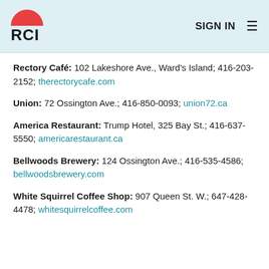RCI — SIGN IN
Rectory Café: 102 Lakeshore Ave., Ward's Island; 416-203-2152; therectorycafe.com
Union: 72 Ossington Ave.; 416-850-0093; union72.ca
America Restaurant: Trump Hotel, 325 Bay St.; 416-637-5550; americarestaurant.ca
Bellwoods Brewery: 124 Ossington Ave.; 416-535-4586; bellwoodsbrewery.com
White Squirrel Coffee Shop: 907 Queen St. W.; 647-428-4478; whitesquirrelcoffee.com